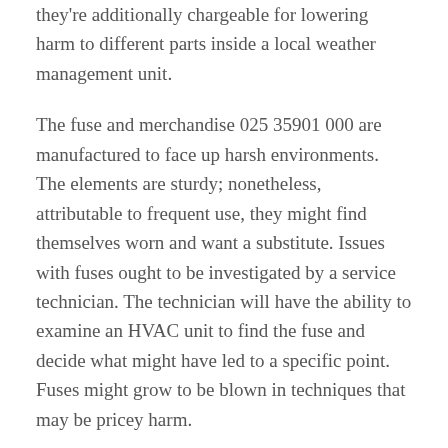they're additionally chargeable for lowering harm to different parts inside a local weather management unit.
The fuse and merchandise 025 35901 000 are manufactured to face up harsh environments. The elements are sturdy; nonetheless, attributable to frequent use, they might find themselves worn and want a substitute. Issues with fuses ought to be investigated by a service technician. The technician will have the ability to examine an HVAC unit to find the fuse and decide what might have led to a specific point. Fuses might grow to be blown in techniques that may be pricey harm.
Amenities managing local weather management techniques can't afford to incur further operational prices attributable to defective items. Air-con items are big funding for corporations. Amenities want to get probably the most out of apparatus for so long as doable. Elements substitute one